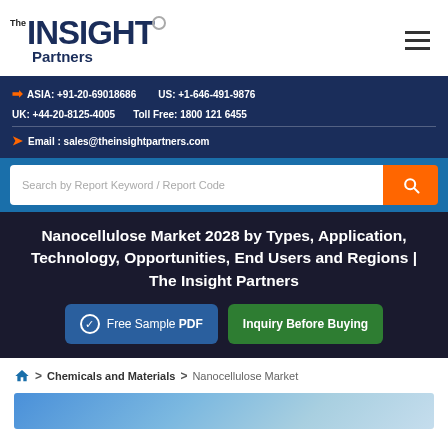[Figure (logo): The Insight Partners logo with blue bold text and circle accent]
ASIA: +91-20-69018686  US: +1-646-491-9876  UK: +44-20-8125-4005  Toll Free: 1800 121 6455  Email: sales@theinsightpartners.com
Search by Report Keyword / Report Code
Nanocellulose Market 2028 by Types, Application, Technology, Opportunities, End Users and Regions | The Insight Partners
Free Sample PDF
Inquiry Before Buying
Home > Chemicals and Materials > Nanocellulose Market
[Figure (photo): Blue tinted product/material image at the bottom of the page]